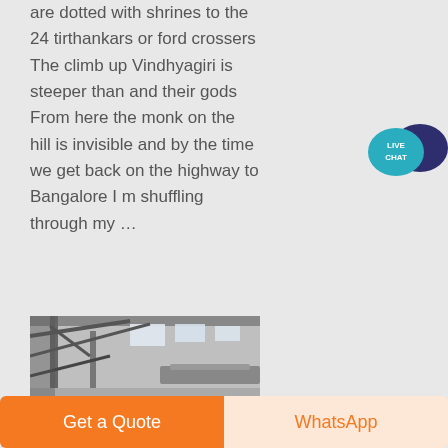are dotted with shrines to the 24 tirthankars or ford crossers The climb up Vindhyagiri is steeper than and their gods From here the monk on the hill is invisible and by the time we get back on the highway to Bangalore I m shuffling through my …
[Figure (illustration): Live Chat speech bubble icon with teal circle and dark navy overlapping bubble, text LIVE CHAT in white]
[Figure (photo): Industrial factory interior with metal structures, pipes, and high windows letting in light]
Get a Quote
WhatsApp